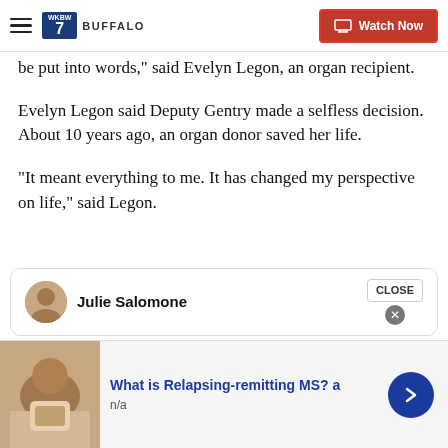7 Buffalo | Watch Now
be put into words," said Evelyn Legon, an organ recipient.
Evelyn Legon said Deputy Gentry made a selfless decision. About 10 years ago, an organ donor saved her life.
"It meant everything to me. It has changed my perspective on life," said Legon.
Julie Salomone
[Figure (screenshot): Ad banner: What is Relapsing-remitting MS? a | n/a]
CLOSE